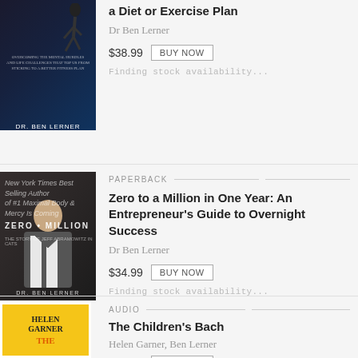a Diet or Exercise Plan
Dr Ben Lerner
$38.99
BUY NOW
Finding stock availability...
PAPERBACK
Zero to a Million in One Year: An Entrepreneur's Guide to Overnight Success
Dr Ben Lerner
$34.99
BUY NOW
Finding stock availability...
AUDIO
The Children's Bach
Helen Garner, Ben Lerner
$50.00
BUY NOW